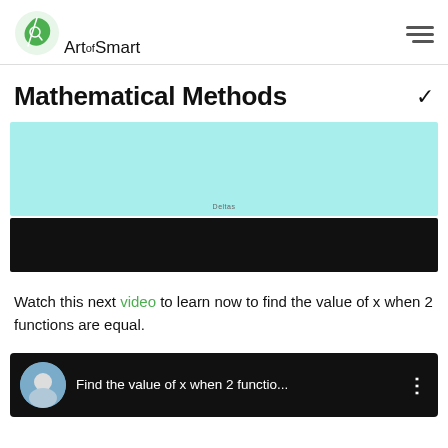Art of Smart
Mathematical Methods
[Figure (other): Light cyan/teal colored advertisement or placeholder block with small text 'Deltas' centered at the bottom]
[Figure (other): Black video player or media block]
Watch this next video to learn now to find the value of x when 2 functions are equal.
[Figure (other): Video thumbnail with dark background showing a presenter avatar and title: Find the value of x when 2 functio...]